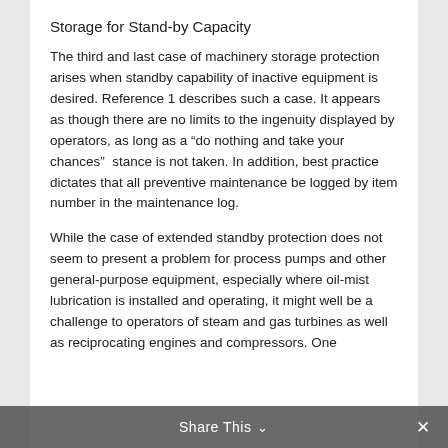Storage for Stand-by Capacity
The third and last case of machinery storage protection arises when standby capability of inactive equipment is desired. Reference 1 describes such a case. It appears as though there are no limits to the ingenuity displayed by operators, as long as a “do nothing and take your chances” stance is not taken. In addition, best practice dictates that all preventive maintenance be logged by item number in the maintenance log.
While the case of extended standby protection does not seem to present a problem for process pumps and other general-purpose equipment, especially where oil-mist lubrication is installed and operating, it might well be a challenge to operators of steam and gas turbines as well as reciprocating engines and compressors. One